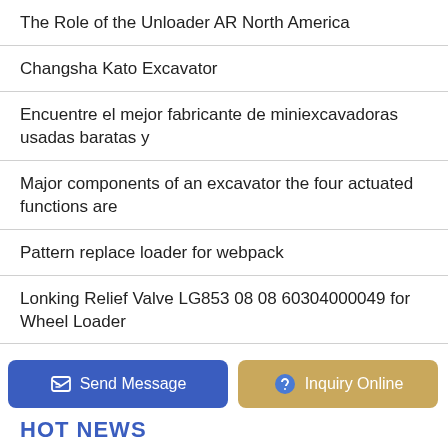The Role of the Unloader AR North America
Changsha Kato Excavator
Encuentre el mejor fabricante de miniexcavadoras usadas baratas y
Major components of an excavator the four actuated functions are
Pattern replace loader for webpack
Lonking Relief Valve LG853 08 08 60304000049 for Wheel Loader
How to Draw a Backhoe Loader - 10 Minutes of Quality Time Art
Send Message | Inquiry Online | HOT NEWS